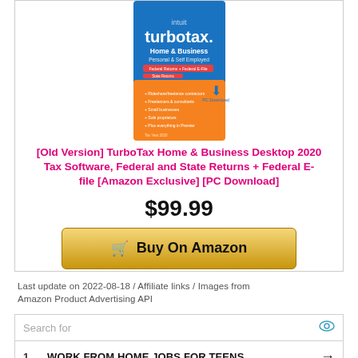[Figure (photo): TurboTax Home & Business 2020 PC Download box art — blue and orange product box with TurboTax logo and 'Home & Business, Personal & Self Employed' text]
[Old Version] TurboTax Home & Business Desktop 2020 Tax Software, Federal and State Returns + Federal E-file [Amazon Exclusive] [PC Download]
$99.99
🛒 Buy On Amazon
Last update on 2022-08-18 / Affiliate links / Images from Amazon Product Advertising API
[Figure (screenshot): Advertisement widget with search bar and two ad entries: 1. WORK FROM HOME JOBS FOR TEENS, 2. PROFIT AND LOSS STATEMENT FORM, with eye icon and arrow icons]